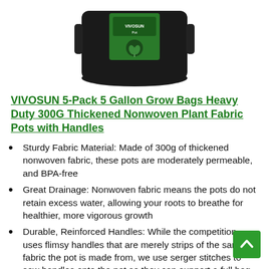[Figure (photo): Product photo of VIVOSUN black fabric grow pot/bag with green label, partially cropped at top]
VIVOSUN 5-Pack 5 Gallon Grow Bags Heavy Duty 300G Thickened Nonwoven Plant Fabric Pots with Handles
Sturdy Fabric Material: Made of 300g of thickened nonwoven fabric, these pots are moderately permeable, and BPA-free
Great Drainage: Nonwoven fabric means the pots do not retain excess water, allowing your roots to breathe for healthier, more vigorous growth
Durable, Reinforced Handles: While the competition uses flimsy handles that are merely strips of the same fabric the pot is made from, we use serger stitches to sew handles onto the pot so they can support a full bag of soil
Portable Bags: Heavy-duty handles and rugged